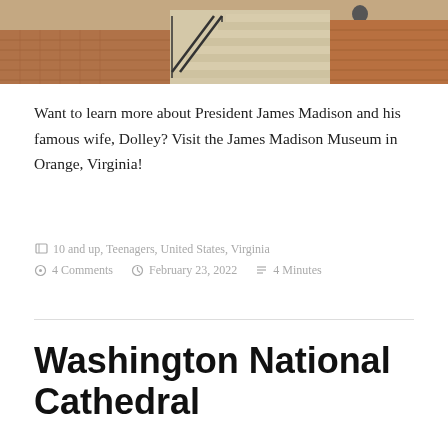[Figure (photo): Outdoor photo showing brick steps with iron railings and a person standing at the top, against a brick building background]
Want to learn more about President James Madison and his famous wife, Dolley? Visit the James Madison Museum in Orange, Virginia!
10 and up, Teenagers, United States, Virginia
4 Comments  February 23, 2022  4 Minutes
Washington National Cathedral